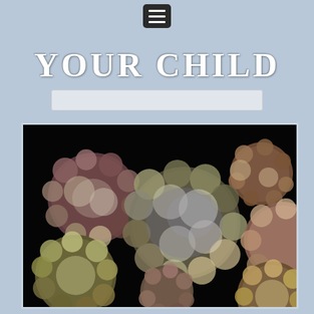[Figure (screenshot): Hamburger/menu icon button with three white lines on dark rounded rectangle background]
YOUR CHILD
[Figure (other): White search bar input field]
[Figure (photo): 3D rendered microscopic view of multiple virus particles (norovirus or similar) with bumpy purple, pink, green and brown surface textures floating on a black background]